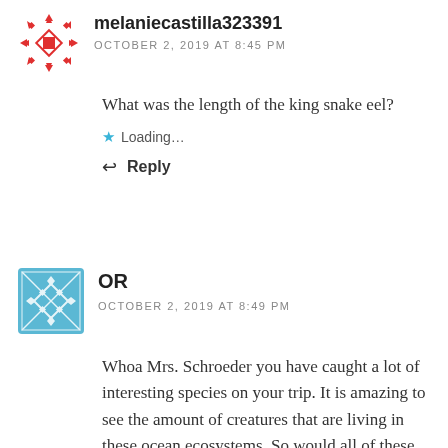[Figure (illustration): Red geometric snowflake/quilt pattern avatar for melaniecastilla323391]
melaniecastilla323391
OCTOBER 2, 2019 AT 8:45 PM
What was the length of the king snake eel?
Loading...
Reply
[Figure (illustration): Blue and gray geometric/diamond pattern avatar for OR]
OR
OCTOBER 2, 2019 AT 8:49 PM
Whoa Mrs. Schroeder you have caught a lot of interesting species on your trip. It is amazing to see the amount of creatures that are living in these ocean ecosystems. So would all of these species be part of the same food chain or do they live separately in different areas of the ocean?